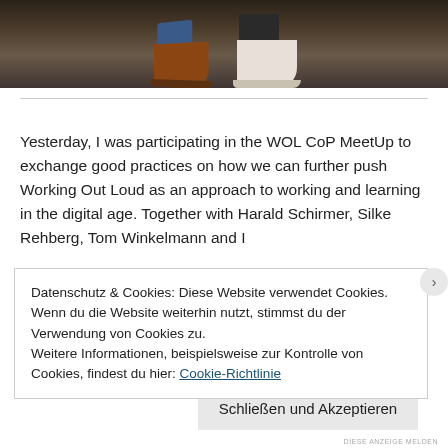[Figure (photo): Photo showing legs/feet of people sitting, wearing jeans and sneakers/dress shoes on a dark floor]
Yesterday, I was participating in the WOL CoP MeetUp to exchange good practices on how we can further push Working Out Loud as an approach to working and learning in the digital age. Together with Harald Schirmer, Silke Rehberg, Tom Winkelmann and I
Datenschutz & Cookies: Diese Website verwendet Cookies. Wenn du die Website weiterhin nutzt, stimmst du der Verwendung von Cookies zu.
Weitere Informationen, beispielsweise zur Kontrolle von Cookies, findest du hier: Cookie-Richtlinie
Schließen und Akzeptieren